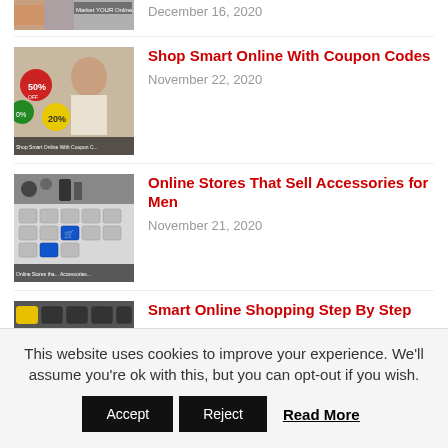December 16, 2020
[Figure (photo): Thumbnail image for coupon codes article showing a woman with shopping discount tags (50%, 20%)]
Shop Smart Online With Coupon Codes
November 22, 2020
[Figure (photo): Thumbnail image for accessories article showing keyboard with shopping cart key]
Online Stores That Sell Accessories for Men
November 21, 2020
[Figure (photo): Thumbnail image for smart online shopping article showing keyboard with yellow and green keys]
Smart Online Shopping Step By Step
October 29, 2020
This website uses cookies to improve your experience. We'll assume you're ok with this, but you can opt-out if you wish.